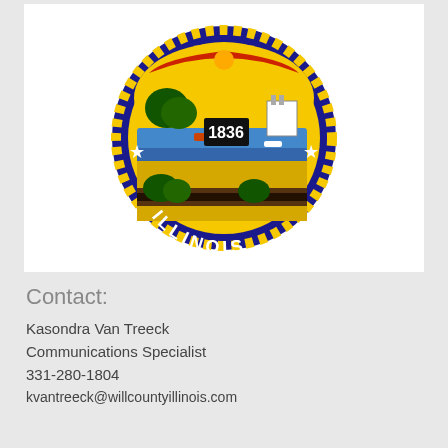[Figure (logo): Illinois state seal showing the year 1836 with imagery of rivers, farmland, trees, and machinery on a gold/yellow background surrounded by a blue and yellow rope border with the word ILLINOIS at the bottom.]
Contact:
Kasondra Van Treeck
Communications Specialist
331-280-1804
kvantreeck@willcountyillinois.com